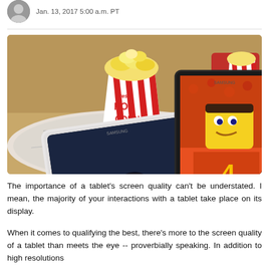Jan. 13, 2017 5:00 a.m. PT
[Figure (photo): Two Samsung tablets on a marble table displaying movies, next to a large red-and-white striped popcorn bucket labeled 'Fresh Popcorn'. A red chair is visible in the background.]
The importance of a tablet's screen quality can't be understated. I mean, the majority of your interactions with a tablet take place on its display.
When it comes to qualifying the best, there's more to the screen quality of a tablet than meets the eye -- proverbially speaking. In addition to high resolutions